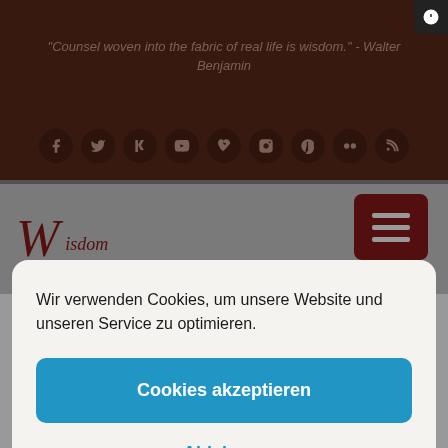[Figure (screenshot): Website background showing a dark red header with a quote by Walter Benjamin, social media icons row, a logo area with stylized W and 'Wisdom' text, and a hamburger menu button.]
Wir verwenden Cookies, um unsere Website und unseren Service zu optimieren.
Cookies akzeptieren
Ablehnen
Einstellungen anzeigen
Cookie-Richtlinie  Datenschutzerklärung